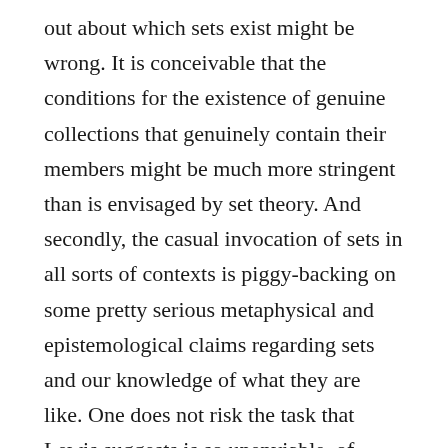out about which sets exist might be wrong. It is conceivable that the conditions for the existence of genuine collections that genuinely contain their members might be much more stringent than is envisaged by set theory. And secondly, the casual invocation of sets in all sorts of contexts is piggy-backing on some pretty serious metaphysical and epistemological claims regarding sets and our knowledge of what they are like. One does not risk the task that Lewis suggests is so unenviable, of telling mathematicians that they must “change their ways, and abjure countless errors” by oneself abjuring this substantive and striking theory. One can question whether there really is any single entity that genuinely contains, say, all zebras, and that could be identified